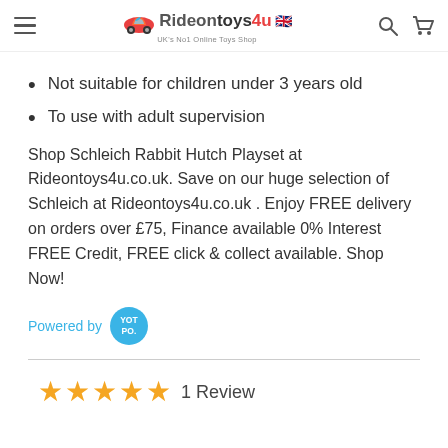Rideontoys4u UK's No1 Online Toys Shop
Not suitable for children under 3 years old
To use with adult supervision
Shop Schleich Rabbit Hutch Playset at Rideontoys4u.co.uk. Save on our huge selection of Schleich at Rideontoys4u.co.uk . Enjoy FREE delivery on orders over £75, Finance available 0% Interest FREE Credit, FREE click & collect available. Shop Now!
[Figure (logo): Powered by YOTPO badge]
1 Review